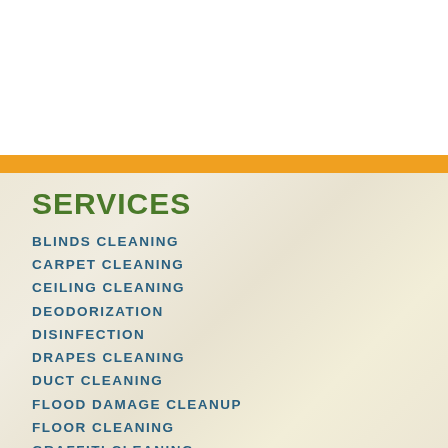SERVICES
BLINDS CLEANING
CARPET CLEANING
CEILING CLEANING
DEODORIZATION
DISINFECTION
DRAPES CLEANING
DUCT CLEANING
FLOOD DAMAGE CLEANUP
FLOOR CLEANING
GRAFFITI CLEANING
HOME CLEANING
HVAC CLEANING
JANITORIAL CLEANING
MOLD REMEDIATION
SEWAGE CLEANUP
STORM DAMAGE CLEANUP